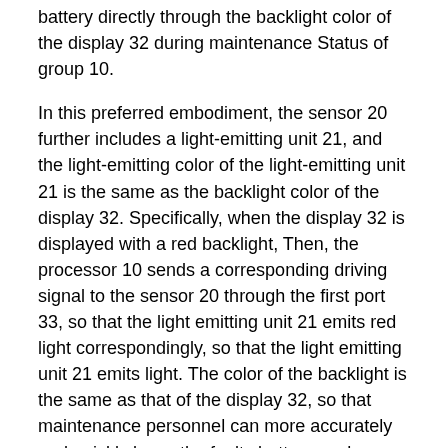battery directly through the backlight color of the display 32 during maintenance Status of group 10.
In this preferred embodiment, the sensor 20 further includes a light-emitting unit 21, and the light-emitting color of the light-emitting unit 21 is the same as the backlight color of the display 32. Specifically, when the display 32 is displayed with a red backlight, Then, the processor 10 sends a corresponding driving signal to the sensor 20 through the first port 33, so that the light emitting unit 21 emits red light correspondingly, so that the light emitting unit 21 emits light. The color of the backlight is the same as that of the display 32, so that maintenance personnel can more accurately and quickly know the faulty battery pack.
Regarding the second system architecture of the first preferred embodiment of the power management system using the backlight color of the display to indicate the battery status according to the present invention, please refer to FIG. 2. The battery pack 10 is composed of a plurality of batteries connected in series.
Please refer to FIG. 3 for a second preferred embodiment